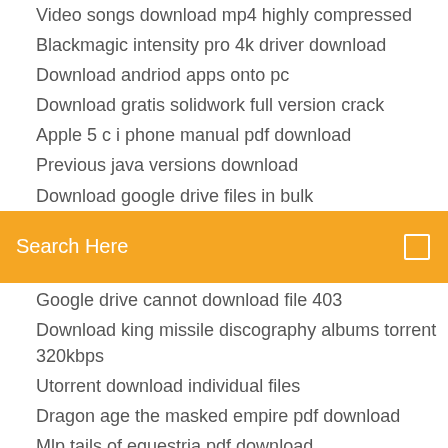Video songs download mp4 highly compressed
Blackmagic intensity pro 4k driver download
Download andriod apps onto pc
Download gratis solidwork full version crack
Apple 5 c i phone manual pdf download
Previous java versions download
Download google drive files in bulk
[Figure (screenshot): Orange search bar with text 'Search Here' and a small square icon on the right]
Google drive cannot download file 403
Download king missile discography albums torrent 320kbps
Utorrent download individual files
Dragon age the masked empire pdf download
Mlp tails of equestria pdf download
Android 7.0 update download for sd card
Openload movie downloader app
Best app to download music on my computer
Ubuntu server download a file